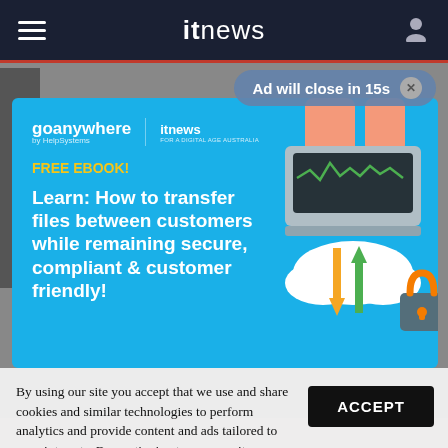itnews
Ad will close in 15s
[Figure (infographic): GoAnywhere by HelpSystems and ITnews advertisement banner. Blue background with illustration of hands using a laptop/server connected to cloud with arrows (orange down, green up) and a padlock icon. Text: FREE EBOOK! Learn: How to transfer files between customers while remaining secure, compliant & customer friendly!]
By using our site you accept that we use and share cookies and similar technologies to perform analytics and provide content and ads tailored to your interests. By continuing to use our site, you consent to this. Please see our Cookie Policy for more information.